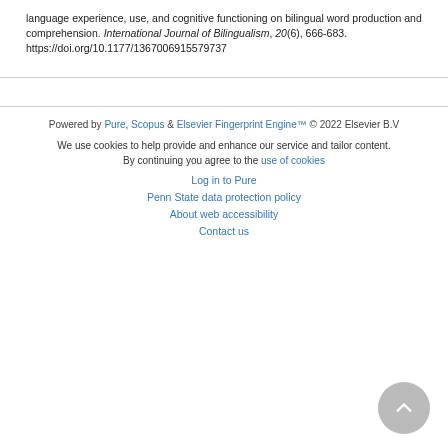language experience, use, and cognitive functioning on bilingual word production and comprehension. International Journal of Bilingualism, 20(6), 666-683. https://doi.org/10.1177/1367006915579737
Powered by Pure, Scopus & Elsevier Fingerprint Engine™ © 2022 Elsevier B.V
We use cookies to help provide and enhance our service and tailor content. By continuing you agree to the use of cookies
Log in to Pure
Penn State data protection policy
About web accessibility
Contact us